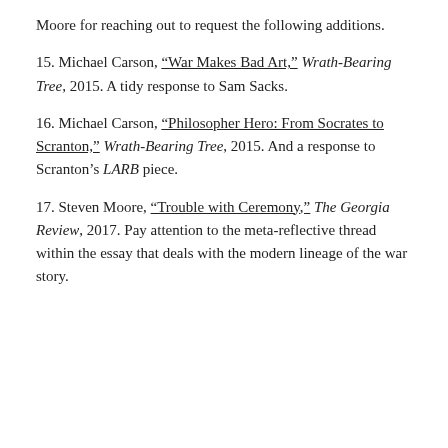Moore for reaching out to request the following additions.
15. Michael Carson, “War Makes Bad Art,” Wrath-Bearing Tree, 2015. A tidy response to Sam Sacks.
16. Michael Carson, “Philosopher Hero: From Socrates to Scranton,” Wrath-Bearing Tree, 2015. And a response to Scranton’s LARB piece.
17. Steven Moore, “Trouble with Ceremony,” The Georgia Review, 2017. Pay attention to the meta-reflective thread within the essay that deals with the modern lineage of the war story.